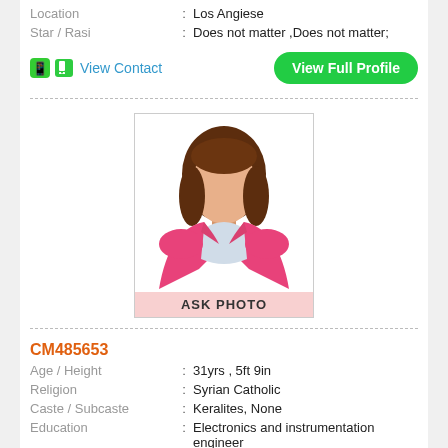Location : Los Angiese
Star / Rasi : Does not matter ,Does not matter;
View Contact | View Full Profile
[Figure (illustration): Female avatar illustration wearing a pink blazer with brown hair, inside a bordered box. Below the illustration is a pink banner labeled ASK PHOTO.]
CM485653
Age / Height : 31yrs , 5ft 9in
Religion : Syrian Catholic
Caste / Subcaste : Keralites, None
Education : Electronics and instrumentation engineer
Profession : Supervisors